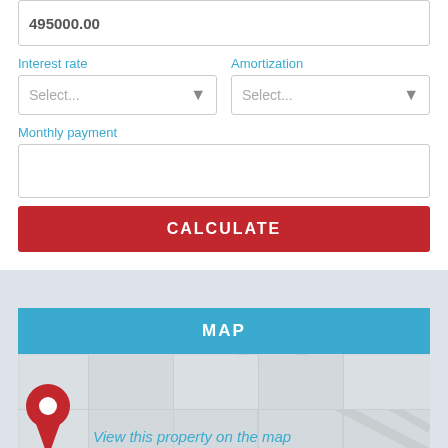495000.00
Interest rate
Amortization
Select...
Select...
Monthly payment
CALCULATE
MAP
View this property on the map